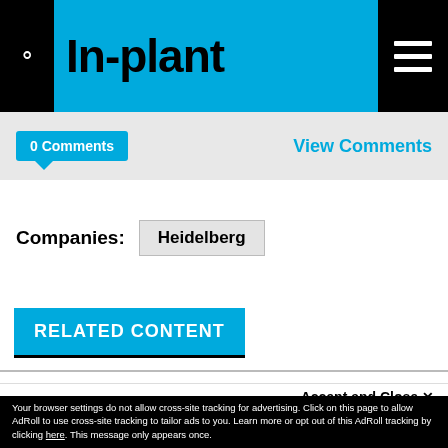In-plant
0 Comments
View Comments
Companies: Heidelberg
RELATED CONTENT
This site uses cookies for tracking purposes. By continuing to browse our website, you agree to the storing of first- and third-party cookies on your device to enhance site navigation, analyze site usage, and assist in our marketing and
Accept and Close ✕
Your browser settings do not allow cross-site tracking for advertising. Click on this page to allow AdRoll to use cross-site tracking to tailor ads to you. Learn more or opt out of this AdRoll tracking by clicking here. This message only appears once.